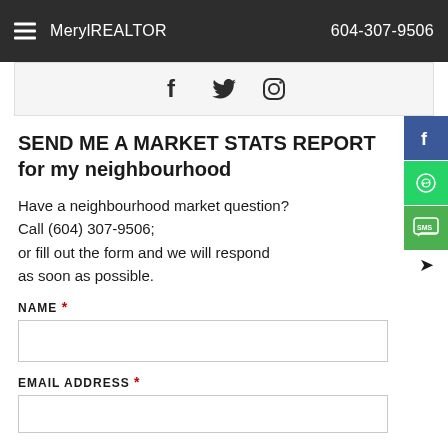MerylREALTOR  604-307-9506
[Figure (screenshot): Social media icons: Facebook, Twitter, Instagram in a light grey bar]
SEND ME A MARKET STATS REPORT for my neighbourhood
Have a neighbourhood market question? Call (604) 307-9506; or fill out the form and we will respond as soon as possible.
NAME *
EMAIL ADDRESS *